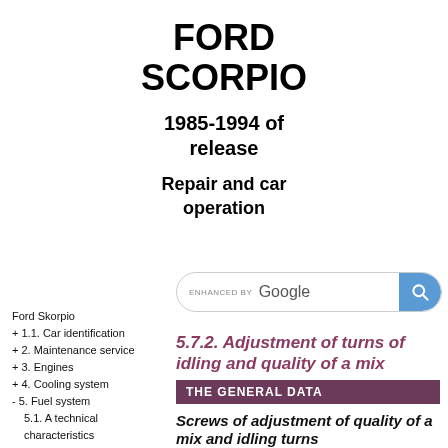FORD SCORPIO
1985-1994 of release
Repair and car operation
Ford Skorpio
+ 1.1. Car identification
+ 2. Maintenance service
+ 3. Engines
+ 4. Cooling system
- 5. Fuel system
5.1. A technical characteristics
5.2. Fuel
5.7.2. Adjustment of turns of idling and quality of a mix
THE GENERAL DATA
Screws of adjustment of quality of a mix and idling turns